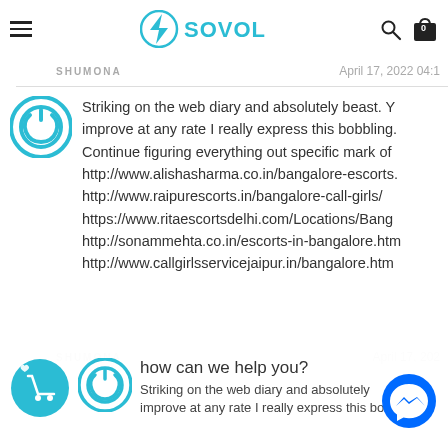SOVOL
SHUMONA   April 17, 2022 04:1
Striking on the web diary and absolutely beast. Y improve at any rate I really express this bobbling. Continue figuring everything out specific mark of http://www.alishasharma.co.in/bangalore-escorts. http://www.raipurescorts.in/bangalore-call-girls/ https://www.ritaescortsdelhi.com/Locations/Bang http://sonammehta.co.in/escorts-in-bangalore.htm http://www.callgirlsservicejaipur.in/bangalore.htm
SHUMONA   April 17, 202
how can we help you?
Striking on the web diary and absolutely ast. Y improve at any rate I really express this bobbling